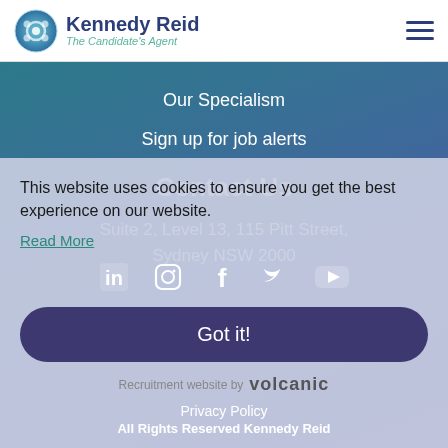[Figure (logo): Kennedy Reid logo with circular blue-green icon and text 'Kennedy Reid' with tagline 'The Candidate's Agent']
Our Specialism
Sign up for job alerts
Contact Us
Suite 2, Level 13, 115 Pitt Street,
Sydney NSW 2000
This website uses cookies to ensure you get the best experience on our website.
Read More
Got it!
Recruitment website by volcanic
Privacy Policy
All Rights Reserved Kennedy Reid